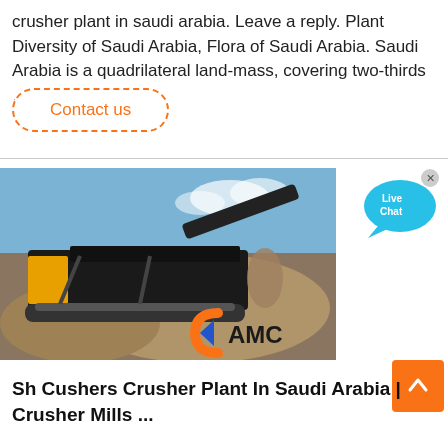crusher plant in saudi arabia. Leave a reply. Plant Diversity of Saudi Arabia, Flora of Saudi Arabia. Saudi Arabia is a quadrilateral land-mass, covering two-thirds …
Contact us
[Figure (photo): Industrial mobile crusher plant/machine on a gravel site with AMC logo overlay]
[Figure (other): Live Chat speech bubble button]
[Figure (other): Scroll-to-top orange button with upward chevron]
Sh Cushers Crusher Plant In Saudi Arabia | Crusher Mills ...